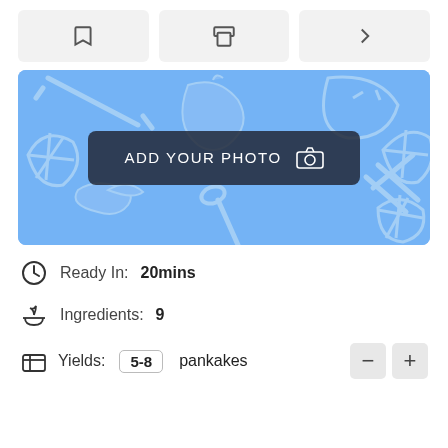[Figure (screenshot): Toolbar with three buttons: bookmark icon, print icon, and share/forward icon on a light gray background]
[Figure (illustration): Recipe photo placeholder with blue background showing food icons (apple, fork, spoon, lemon slices) and a dark 'ADD YOUR PHOTO' button with camera icon in the center]
Ready In: 20mins
Ingredients: 9
Yields: 5-8 pankakes